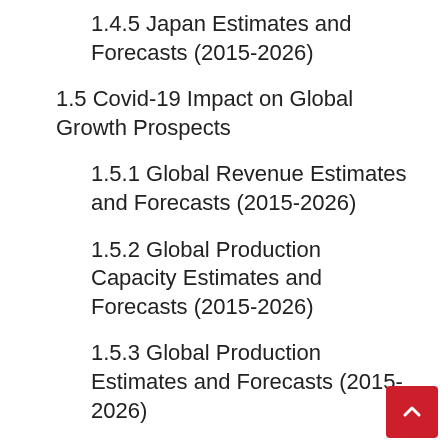1.4.5 Japan Estimates and Forecasts (2015-2026)
1.5 Covid-19 Impact on Global Growth Prospects
1.5.1 Global Revenue Estimates and Forecasts (2015-2026)
1.5.2 Global Production Capacity Estimates and Forecasts (2015-2026)
1.5.3 Global Production Estimates and Forecasts (2015-2026)
1.6 Coronavirus Disease 2019 (Covid-19) Impact Will Have a Severe Impact on Global Growth